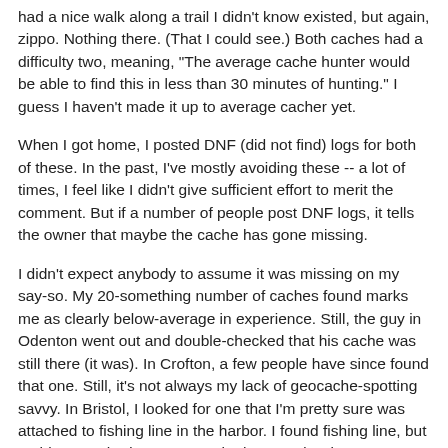had a nice walk along a trail I didn't know existed, but again, zippo. Nothing there. (That I could see.) Both caches had a difficulty two, meaning, "The average cache hunter would be able to find this in less than 30 minutes of hunting." I guess I haven't made it up to average cacher yet.
When I got home, I posted DNF (did not find) logs for both of these. In the past, I've mostly avoiding these -- a lot of times, I feel like I didn't give sufficient effort to merit the comment. But if a number of people post DNF logs, it tells the owner that maybe the cache has gone missing.
I didn't expect anybody to assume it was missing on my say-so. My 20-something number of caches found marks me as clearly below-average in experience. Still, the guy in Odenton went out and double-checked that his cache was still there (it was). In Crofton, a few people have since found that one. Still, it's not always my lack of geocache-spotting savvy. In Bristol, I looked for one that I'm pretty sure was attached to fishing line in the harbor. I found fishing line, but nothing attached. Sure enough, the next day, it was disabled.